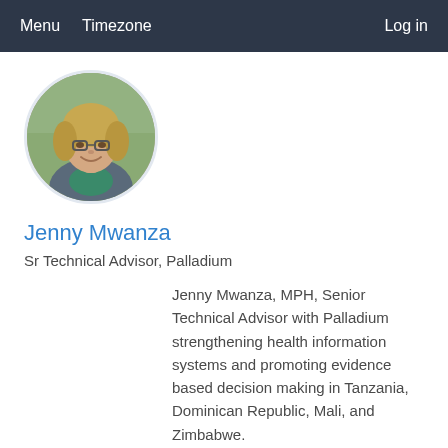Menu   Timezone   Log in
[Figure (photo): Circular profile photo of Jenny Mwanza, a woman with glasses and blonde hair, smiling, wearing a grey jacket over a green top, outdoors background.]
Jenny Mwanza
Sr Technical Advisor, Palladium
Jenny Mwanza, MPH, Senior Technical Advisor with Palladium strengthening health information systems and promoting evidence based decision making in Tanzania, Dominican Republic, Mali, and Zimbabwe.